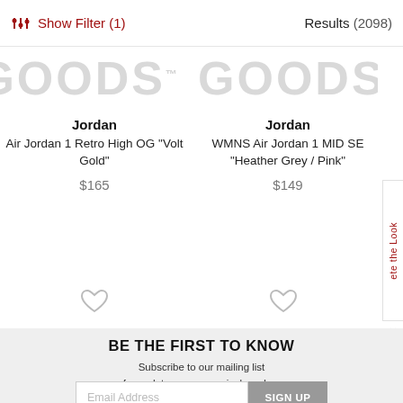Show Filter (1)   Results (2098)
[Figure (screenshot): GOODS watermark logos appearing twice side by side in light gray]
Jordan
Air Jordan 1 Retro High OG "Volt Gold"
$165
Jordan
WMNS Air Jordan 1 MID SE "Heather Grey / Pink"
$149
ete the Look
BE THE FIRST TO KNOW
Subscribe to our mailing list
for updates on new arrivals, sales,
special events, and much more.
Email Address   SIGN UP